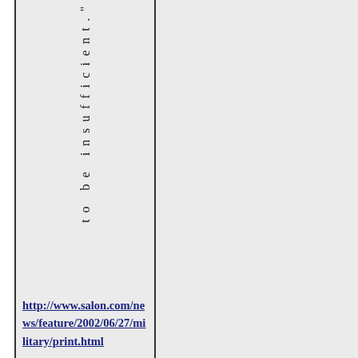to be insufficient."
http://www.salon.com/news/feature/2002/06/27/military/print.html